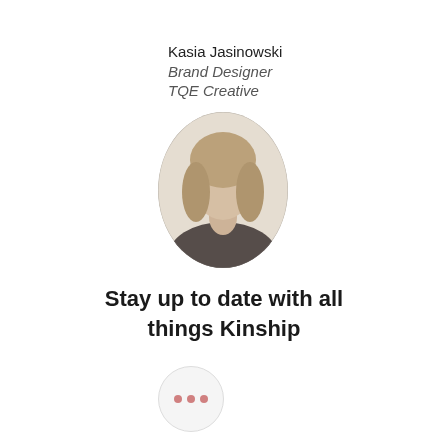Kasia Jasinowski
Brand Designer
TQE Creative
[Figure (photo): Oval portrait photo of Kasia Jasinowski, a woman with long blond hair, blurred/pixelated for privacy]
Stay up to date with all things Kinship
[Figure (other): Circular button with three pink/red dots (ellipsis/more options button)]